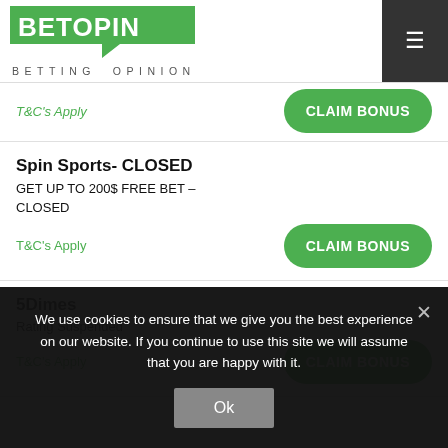[Figure (logo): BetOpin logo - green speech bubble with BETOPIN text, and BETTING OPINION tagline below]
T&C's Apply
Spin Sports- CLOSED
GET UP TO 200$ FREE BET – CLOSED
T&C's Apply
5Dimes
Rating Suspended
T&C's Apply
We use cookies to ensure that we give you the best experience on our website. If you continue to use this site we will assume that you are happy with it.